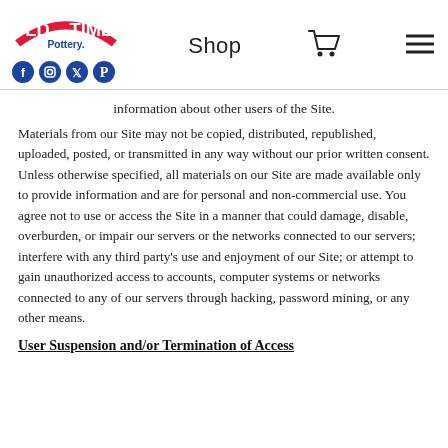Old Time Pottery — Shop
information about other users of the Site.
Materials from our Site may not be copied, distributed, republished, uploaded, posted, or transmitted in any way without our prior written consent. Unless otherwise specified, all materials on our Site are made available only to provide information and are for personal and non-commercial use. You agree not to use or access the Site in a manner that could damage, disable, overburden, or impair our servers or the networks connected to our servers; interfere with any third party's use and enjoyment of our Site; or attempt to gain unauthorized access to accounts, computer systems or networks connected to any of our servers through hacking, password mining, or any other means.
User Suspension and/or Termination of Access